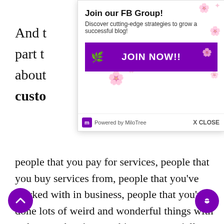And to... part th... about...
[Figure (screenshot): Popup ad: Join our FB Group! Discover cutting-edge strategies to grow a successful blog! JOIN NOW!! button. Powered by MiloTree. X CLOSE.]
people that you pay for services, people that you buy services from, people that you’ve worked with in business, people that you’ve done lots of weird and wonderful things with as long as there’s something commercially that’s happened, and they feel that they’ve benefited or vice versa, there’s no reason why it isn’t ethical to ask them for review.
And that is something that is probably the lowest ging fruit in terms of going out and generating reviews out of the gate, because you’ll have friends